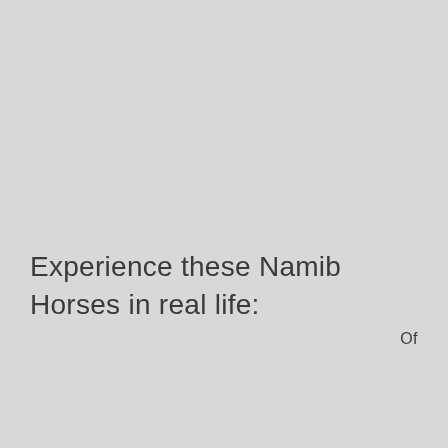Experience these Namib Horses in real life:
Of